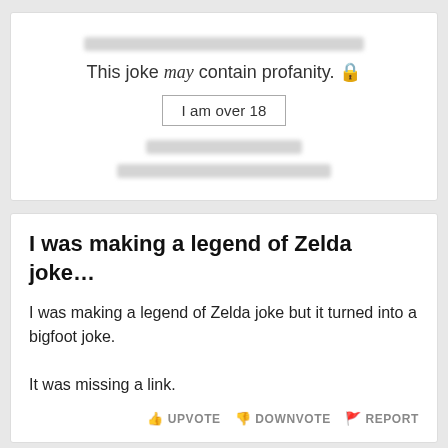[Figure (screenshot): A joke card with profanity warning showing blurred content, the text 'This joke may contain profanity.' and a button 'I am over 18']
I was making a legend of Zelda joke…
I was making a legend of Zelda joke but it turned into a bigfoot joke.

It was missing a link.
UPVOTE   DOWNVOTE   REPORT
The legend of the three kingdoms
There were three kingdoms, each bordering on the